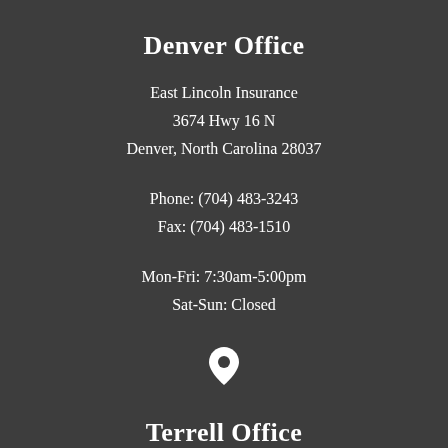Denver Office
East Lincoln Insurance
3674 Hwy 16 N
Denver, North Carolina 28037
Phone: (704) 483-3243
Fax: (704) 483-1510
Mon-Fri: 7:30am-5:00pm
Sat-Sun: Closed
[Figure (illustration): Map pin / location icon]
Terrell Office
Mauney Insurance of Lake Norman